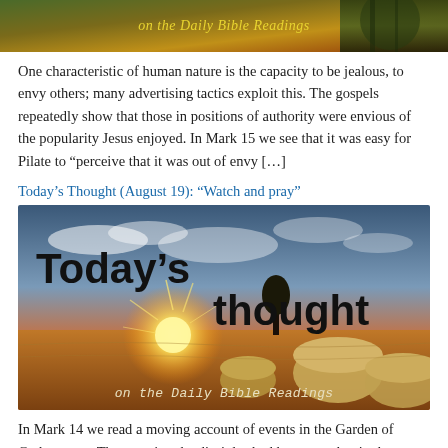[Figure (photo): Landscape photo banner with trees and golden text reading 'on the Daily Bible Readings']
One characteristic of human nature is the capacity to be jealous, to envy others; many advertising tactics exploit this. The gospels repeatedly show that those in positions of authority were envious of the popularity Jesus enjoyed. In Mark 15 we see that it was easy for Pilate to “perceive that it was out of envy […]
Today’s Thought (August 19): “Watch and pray”
[Figure (photo): Sunset over a harvested field with hay bales. Large bold text reads 'Today’s thought' and at the bottom italic text 'on the Daily Bible Readings']
In Mark 14 we read a moving account of events in the Garden of Gethsemane. That evening the disciples had been together in the upper